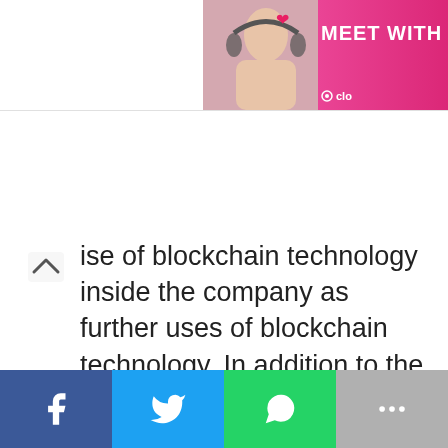[Figure (other): Advertisement banner with woman wearing headset on pink background with text 'MEET WITH LO' and logo 'clo']
use of blockchain technology inside the company as further uses of blockchain technology. In addition to the NFT, Bentley is exploring a wide range of other blockchain-based applications.
[Figure (other): Social share bar with Facebook, Twitter, WhatsApp, and More buttons]